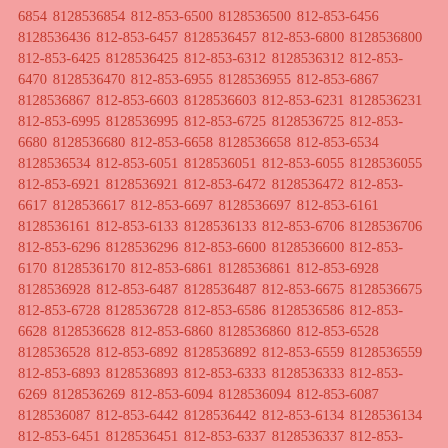6854 8128536854 812-853-6500 8128536500 812-853-6456 8128536436 812-853-6457 8128536457 812-853-6800 8128536800 812-853-6425 8128536425 812-853-6312 8128536312 812-853-6470 8128536470 812-853-6955 8128536955 812-853-6867 8128536867 812-853-6603 8128536603 812-853-6231 8128536231 812-853-6995 8128536995 812-853-6725 8128536725 812-853-6680 8128536680 812-853-6658 8128536658 812-853-6534 8128536534 812-853-6051 8128536051 812-853-6055 8128536055 812-853-6921 8128536921 812-853-6472 8128536472 812-853-6617 8128536617 812-853-6697 8128536697 812-853-6161 8128536161 812-853-6133 8128536133 812-853-6706 8128536706 812-853-6296 8128536296 812-853-6600 8128536600 812-853-6170 8128536170 812-853-6861 8128536861 812-853-6928 8128536928 812-853-6487 8128536487 812-853-6675 8128536675 812-853-6728 8128536728 812-853-6586 8128536586 812-853-6628 8128536628 812-853-6860 8128536860 812-853-6528 8128536528 812-853-6892 8128536892 812-853-6559 8128536559 812-853-6893 8128536893 812-853-6333 8128536333 812-853-6269 8128536269 812-853-6094 8128536094 812-853-6087 8128536087 812-853-6442 8128536442 812-853-6134 8128536134 812-853-6451 8128536451 812-853-6337 8128536337 812-853-6316 8128536316 812-853-6848 8128536848 812-853-6989 8128536989 812-853-6235 8128536235 812-853-6156 8128536156 812-853-6321 8128536321 812-853-6863 8128536863 812-853-6644 8128536644 812-853-6102 8128536102 812-853-6905 8128536905 812-853-6230 8128536230 812-853-6351 8128536351 812-853-6401 8128536401 812-853-6307 8128536307 812-853-